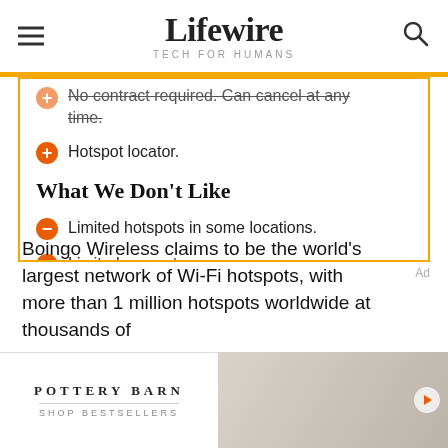Lifewire TECH FOR HUMANS
No contract required. Can cancel at any time.
Hotspot locator.
What We Don't Like
Limited hotspots in some locations.
Limited support.
Boingo Wireless claims to be the world's largest network of Wi-Fi hotspots, with more than 1 million hotspots worldwide at thousands of
[Figure (other): Pottery Barn advertisement banner with logo and 'SHOP BESTSELLERS' text, alongside furniture image]